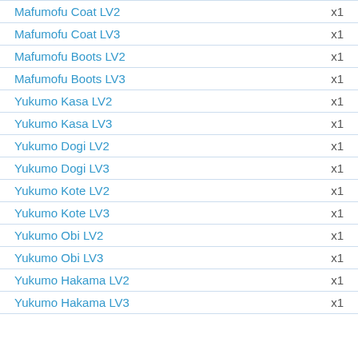Mafumofu Coat LV2 x1
Mafumofu Coat LV3 x1
Mafumofu Boots LV2 x1
Mafumofu Boots LV3 x1
Yukumo Kasa LV2 x1
Yukumo Kasa LV3 x1
Yukumo Dogi LV2 x1
Yukumo Dogi LV3 x1
Yukumo Kote LV2 x1
Yukumo Kote LV3 x1
Yukumo Obi LV2 x1
Yukumo Obi LV3 x1
Yukumo Hakama LV2 x1
Yukumo Hakama LV3 x1